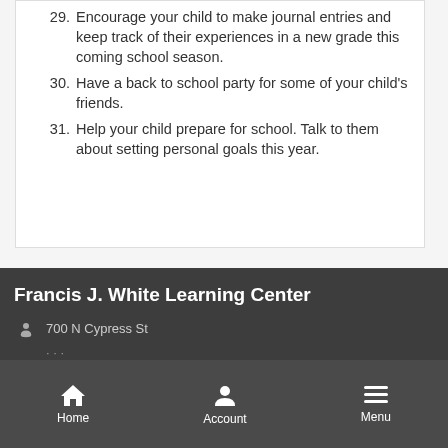29. Encourage your child to make journal entries and keep track of their experiences in a new grade this coming school season.
30. Have a back to school party for some of your child's friends.
31. Help your child prepare for school. Talk to them about setting personal goals this year.
Francis J. White Learning Center
700 N Cypress St
Home  Account  Menu